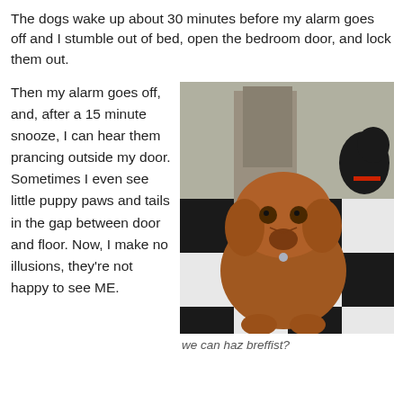The dogs wake up about 30 minutes before my alarm goes off and I stumble out of bed, open the bedroom door, and lock them out.
Then my alarm goes off, and, after a 15 minute snooze, I can hear them prancing outside my door. Sometimes I even see little puppy paws and tails in the gap between door and floor. Now, I make no illusions, they're not happy to see ME.
[Figure (photo): A brown dog sitting on a black and white checkered floor, looking up at the camera. A black dog with a red collar is visible in the background.]
we can haz breffist?